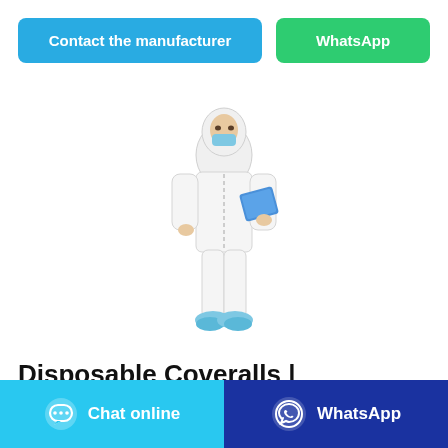Contact the manufacturer
WhatsApp
[Figure (photo): A person wearing a full white disposable coverall/hazmat suit with hood, blue face mask, and blue shoe covers, holding a blue clipboard/folder.]
Disposable Coveralls | Category 3 Type 5/6 Coveralls
Chat online
WhatsApp